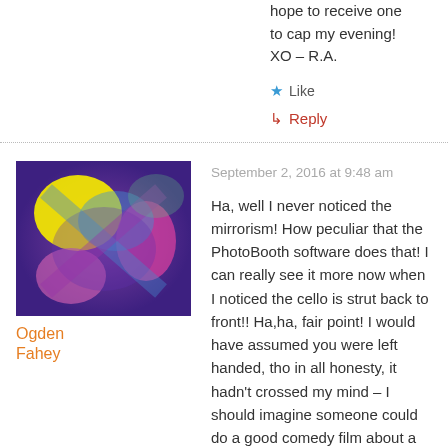hope to receive one to cap my evening!
XO – R.A.
★ Like
↳ Reply
[Figure (photo): Abstract colorful avatar image with purple, yellow, pink and blue tones]
Ogden Fahey
September 2, 2016 at 9:48 am
Ha, well I never noticed the mirrorism! How peculiar that the PhotoBooth software does that! I can really see it more now when I noticed the cello is strut back to front!! Ha,ha, fair point! I would have assumed you were left handed, tho in all honesty, it hadn't crossed my mind – I should imagine someone could do a good comedy film about a violinist or cellist who played left handed and caused massive orchestral